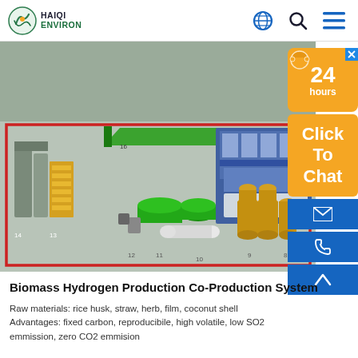HAIQI ENVIRON
[Figure (illustration): 3D rendering of a Biomass Hydrogen Production Co-Production System industrial facility layout, showing numbered equipment components including storage tanks, conveyors, reactors, and processing units on a grey floor plan. A '24 hours Click To Chat' widget overlays the top-right corner.]
Biomass Hydrogen Production Co-Production System
Raw materials: rice husk, straw, herb, film, coconut shell
Advantages: fixed carbon, reproducibile, high volatile, low SO2 emmission, zero CO2 emmision